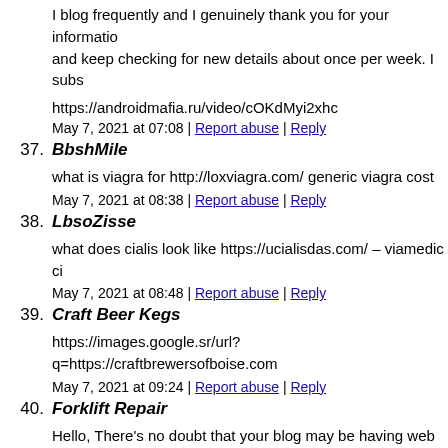I blog frequently and I genuinely thank you for your information and keep checking for new details about once per week. I subs
https://androidmafia.ru/video/cOKdMyi2xhc
May 7, 2021 at 07:08 | Report abuse | Reply
37. BbshMile
what is viagra for http://loxviagra.com/ generic viagra cost
May 7, 2021 at 08:38 | Report abuse | Reply
38. LbsoZisse
what does cialis look like https://ucialisdas.com/ – viamedic ci
May 7, 2021 at 08:48 | Report abuse | Reply
39. Craft Beer Kegs
https://images.google.sr/url?q=https://craftbrewersofboise.com
May 7, 2021 at 09:24 | Report abuse | Reply
40. Forklift Repair
Hello, There's no doubt that your blog may be having web bro looks fine however, when opening in I.E., it's got some overlap